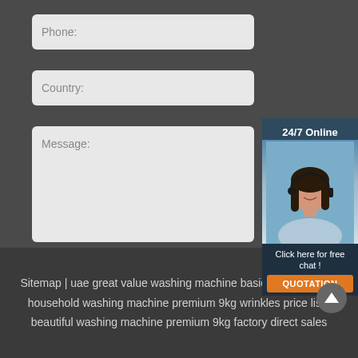Phone:
Country:
Message:
[Figure (illustration): Chat widget with woman wearing headset, '24/7 Online' text, 'Click here for free chat!' text, and orange QUOTATION button]
Submit Now
Sitemap | uae great value washing machine basic 7kg price list | household washing machine premium 9kg wrinkles price list | beautiful washing machine premium 9kg factory direct sales